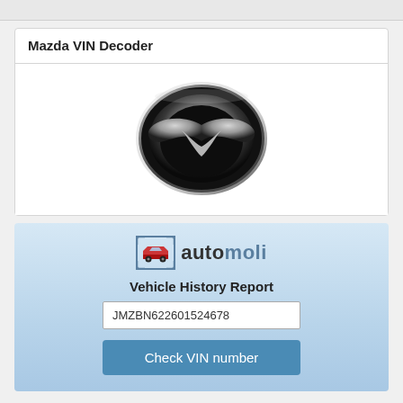Mazda VIN Decoder
[Figure (logo): Mazda brand logo — chrome circular ring with stylized M/wing shape inside, metallic silver and black coloring]
[Figure (logo): Automoli logo — car icon inside bracket with 'automoli' text in dark/blue two-tone]
Vehicle History Report
JMZBN622601524678
Check VIN number